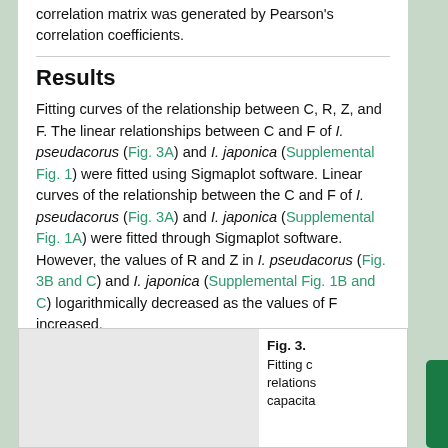correlation matrix was generated by Pearson's correlation coefficients.
Results
Fitting curves of the relationship between C, R, Z, and F. The linear relationships between C and F of I. pseudacorus (Fig. 3A) and I. japonica (Supplemental Fig. 1) were fitted using Sigmaplot software. Linear curves of the relationship between the C and F of I. pseudacorus (Fig. 3A) and I. japonica (Supplemental Fig. 1A) were fitted through Sigmaplot software. However, the values of R and Z in I. pseudacorus (Fig. 3B and C) and I. japonica (Supplemental Fig. 1B and C) logarithmically decreased as the values of F increased.
[Figure (other): Partial view of Figure 3, showing fitting curves of relationships. Image area partially visible.]
Fig. 3. Fitting curves of the relationships between capacita...